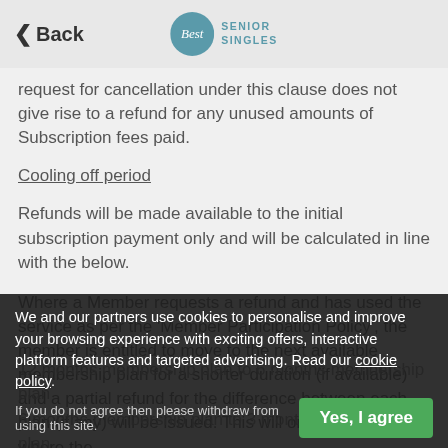Back | BEST SENIOR SINGLES
request for cancellation under this clause does not give rise to a refund for any unused amounts of Subscription fees paid.
Cooling off period
Refunds will be made available to the initial subscription payment only and will be calculated in line with the below.
Where a Member requests a refund and has used the service as per the 'Member Participation Policy', the member is entitled to move to the next available membership plan for a shorter duration (if available) and a partial refund for the difference between each plan (if any) will be issued. This will only be allowed where the member has requested a refund within 14 days of the original
12 months membership plan to 6 months membership plan
6 months membership plan to 3 months membership plan
We and our partners use cookies to personalise and improve your browsing experience with exciting offers, interactive platform features and targeted advertising. Read our cookie policy.
If you do not agree then please withdraw from using this site.